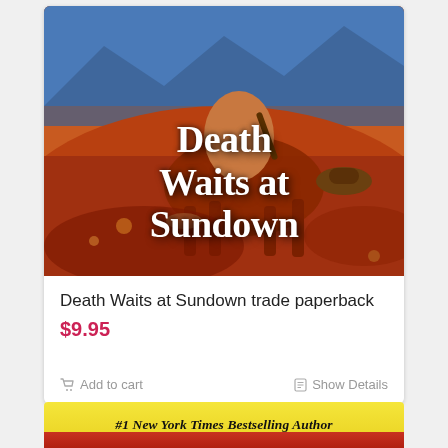[Figure (illustration): Book cover for 'Death Waits at Sundown' — painted western scene with a cowboy on horseback, warm orange/red tones, blue sky background. White stylized text reading 'Death Waits at Sundown' overlaid on the painting.]
Death Waits at Sundown trade paperback
$9.95
Add to cart
Show Details
#1 New York Times Bestselling Author